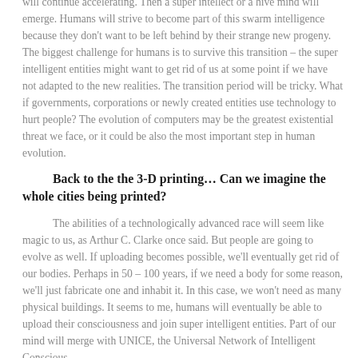will continue accelerating. Then a super intellect or a hive mind will emerge. Humans will strive to become part of this swarm intelligence because they don't want to be left behind by their strange new progeny. The biggest challenge for humans is to survive this transition – the super intelligent entities might want to get rid of us at some point if we have not adapted to the new realities. The transition period will be tricky. What if governments, corporations or newly created entities use technology to hurt people? The evolution of computers may be the greatest existential threat we face, or it could be also the most important step in human evolution.
Back to the the 3-D printing… Can we imagine the whole cities being printed?
The abilities of a technologically advanced race will seem like magic to us, as Arthur C. Clarke once said. But people are going to evolve as well. If uploading becomes possible, we'll eventually get rid of our bodies. Perhaps in 50 – 100 years, if we need a body for some reason, we'll just fabricate one and inhabit it. In this case, we won't need as many physical buildings. It seems to me, humans will eventually be able to upload their consciousness and join super intelligent entities. Part of our mind will merge with UNICE, the Universal Network of Intelligent Conscious